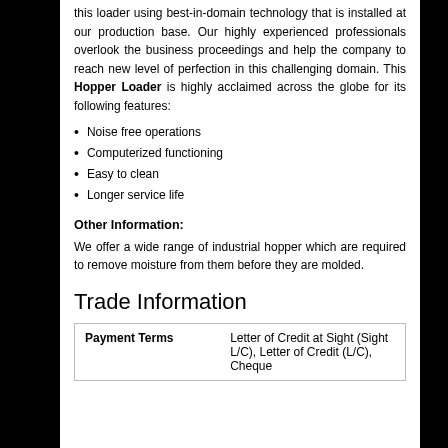this loader using best-in-domain technology that is installed at our production base. Our highly experienced professionals overlook the business proceedings and help the company to reach new level of perfection in this challenging domain. This Hopper Loader is highly acclaimed across the globe for its following features:
Noise free operations
Computerized functioning
Easy to clean
Longer service life
Other Information:
We offer a wide range of industrial hopper which are required to remove moisture from them before they are molded.
Trade Information
| Payment Terms |  |
| --- | --- |
| Payment Terms | Letter of Credit at Sight (Sight L/C), Letter of Credit (L/C), Cheque |